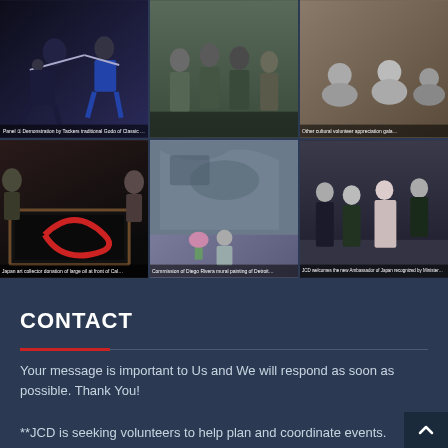[Figure (photo): Grid of 6 event photos: martial arts/sword performance, group of people standing, people seated in formal setting, artwork with painting and two people, large mural artwork with person, formal reception with Ambassador of Japan]
CONTACT
Your message is important to Us and We will respond as soon as possible. Thank You!
**JCD is seeking volunteers to help plan and coordinate events. Please Contact Takashi Omitsu, Chairperson of Japan Cultural Development